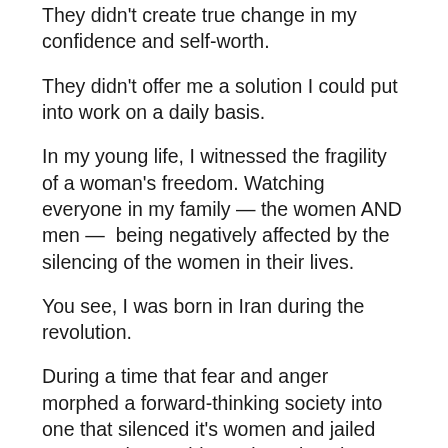They didn't create true change in my confidence and self-worth.
They didn't offer me a solution I could put into work on a daily basis.
In my young life, I witnessed the fragility of a woman's freedom. Watching everyone in my family — the women AND men —  being negatively affected by the silencing of the women in their lives.
You see, I was born in Iran during the revolution.
During a time that fear and anger morphed a forward-thinking society into one that silenced it's women and jailed anyone who would speak against the new regime.